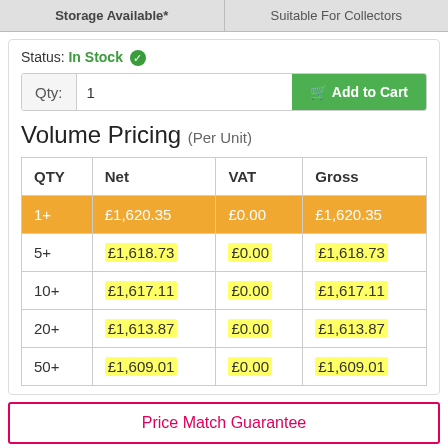Storage Available* | Suitable For Collectors
Status: In Stock
Qty: 1 | Add to Cart
Volume Pricing (Per Unit)
| QTY | Net | VAT | Gross |
| --- | --- | --- | --- |
| 1+ | £1,620.35 | £0.00 | £1,620.35 |
| 5+ | £1,618.73 | £0.00 | £1,618.73 |
| 10+ | £1,617.11 | £0.00 | £1,617.11 |
| 20+ | £1,613.87 | £0.00 | £1,613.87 |
| 50+ | £1,609.01 | £0.00 | £1,609.01 |
Price Match Guarantee